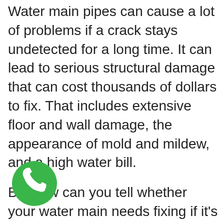Water main pipes can cause a lot of problems if a crack stays undetected for a long time. It can lead to serious structural damage that can cost thousands of dollars to fix. That includes extensive floor and wall damage, the appearance of mold and mildew, and a high water bill.
But how can you tell whether your water main needs fixing if it's buried deep underground? The first signs are usually spots of mildew on walls and floors around your home. Furthermore, if you start getting water bills that are higher than usual, the chances are that your water main line is leaking.
[Figure (illustration): Green circular phone call button with white telephone handset icon in the bottom left area of the page]